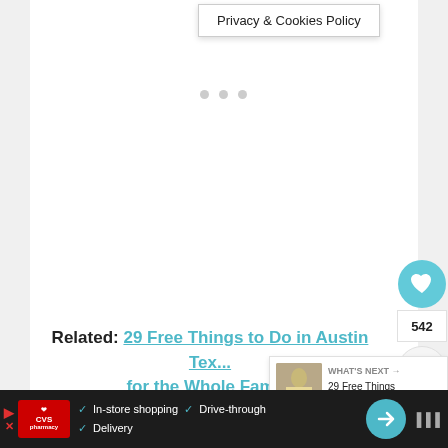Privacy & Cookies Policy
[Figure (other): Carousel dot indicators (three grey dots)]
[Figure (other): Heart/like button (teal circle with heart icon), count 542, share button]
Related: 29 Free Things to Do in Austin Texas for the Whole Family
[Figure (photo): What's Next panel with thumbnail of Texas State Capitol building, text: WHAT'S NEXT → 29 Free Things to Do in Aus...]
Camanche Lookout Park – This is a 96-acre
[Figure (other): Advertisement banner: CVS Pharmacy - In-store shopping, Drive-through, Delivery]